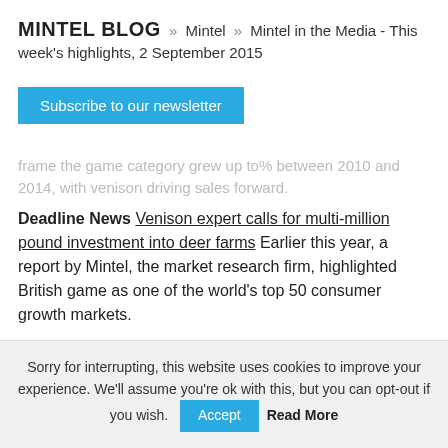MINTEL BLOG » Mintel » Mintel in the Media - This week's highlights, 2 September 2015
[Figure (other): Subscribe to our newsletter button (blue button)]
...frame the game category grew up to% between 2010 and 2014, with venison driving sales forward.
Deadline News Venison expert calls for multi-million pound investment into deer farms Earlier this year, a report by Mintel, the market research firm, highlighted British game as one of the world's top 50 consumer growth markets.
Sorry for interrupting, this website uses cookies to improve your experience. We'll assume you're ok with this, but you can opt-out if you wish. Accept Read More